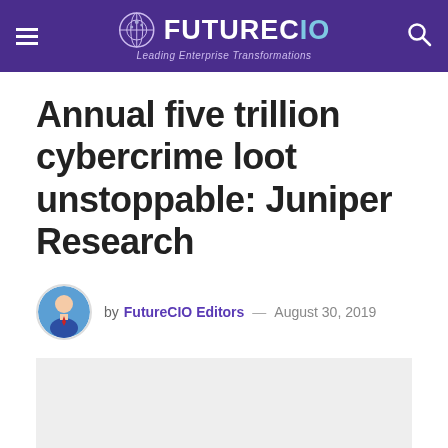FutureCIO — Leading Enterprise Transformations
Annual five trillion cybercrime loot unstoppable: Juniper Research
by FutureCIO Editors — August 30, 2019
[Figure (photo): Light gray image placeholder rectangle below author byline]